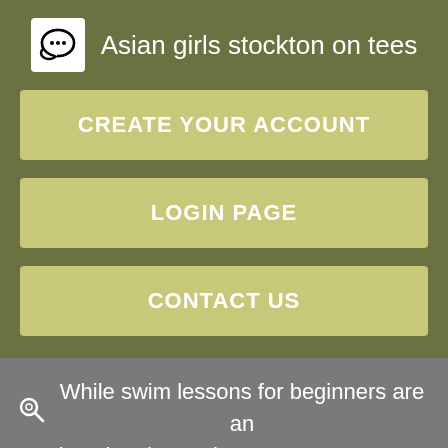Asian girls stockton on tees
CREATE YOUR ACCOUNT
LOGIN PAGE
CONTACT US
While swim lessons for beginners are an educational experience, our programs definitely aren't dry pun intended. Whether you are envisioning a traditional, corporate Christmas setting or a modern and unique experience, you can rest assured that